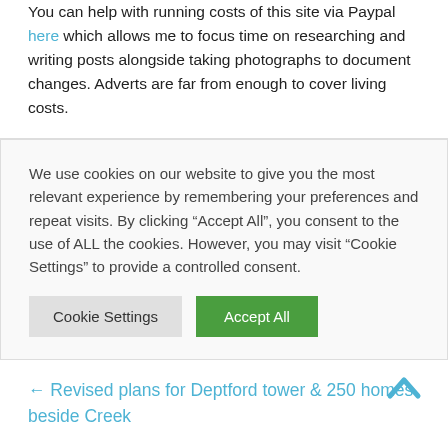You can help with running costs of this site via Paypal here which allows me to focus time on researching and writing posts alongside taking photographs to document changes. Adverts are far from enough to cover living costs.
We use cookies on our website to give you the most relevant experience by remembering your preferences and repeat visits. By clicking “Accept All”, you consent to the use of ALL the cookies. However, you may visit “Cookie Settings” to provide a controlled consent.
← Revised plans for Deptford tower & 250 homes beside Creek
Greenwich fail to introduce CCTV traffic